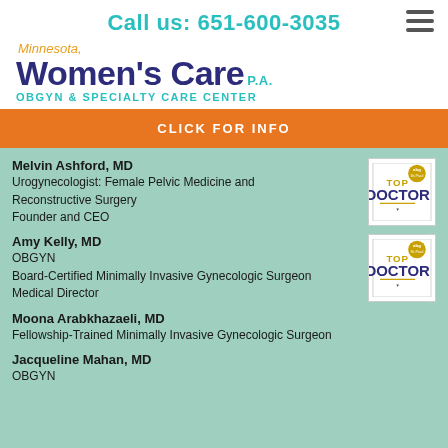Call us: 651-600-3035
[Figure (logo): Minnesota Women's Care P.A. OBGYN & Specialty Care Center logo]
CLICK FOR INFO
Melvin Ashford, MD
Urogynecologist: Female Pelvic Medicine and Reconstructive Surgery
Founder and CEO
[Figure (logo): Top Doctor award badge for Twin Cities]
Amy Kelly, MD
OBGYN
Board-Certified Minimally Invasive Gynecologic Surgeon
Medical Director
[Figure (logo): Top Doctor award badge for Twin Cities]
Moona Arabkhazaeli, MD
Fellowship-Trained Minimally Invasive Gynecologic Surgeon
Jacqueline Mahan, MD
OBGYN